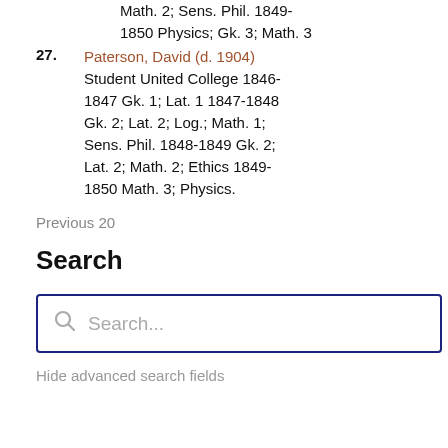Math. 2; Sens. Phil. 1849-1850 Physics; Gk. 3; Math. 3
27. Paterson, David (d. 1904) Student United College 1846-1847 Gk. 1; Lat. 1 1847-1848 Gk. 2; Lat. 2; Log.; Math. 1; Sens. Phil. 1848-1849 Gk. 2; Lat. 2; Math. 2; Ethics 1849-1850 Math. 3; Physics.
Previous 20
Search
Search...
Hide advanced search fields